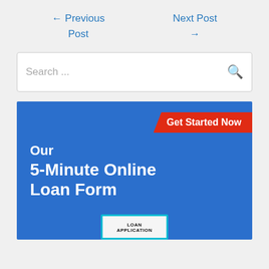← Previous Post
Next Post →
Search ...
[Figure (infographic): Blue banner advertisement for a 5-Minute Online Loan Form with a red 'Get Started Now' badge in the top right corner and a loan application document graphic at the bottom.]